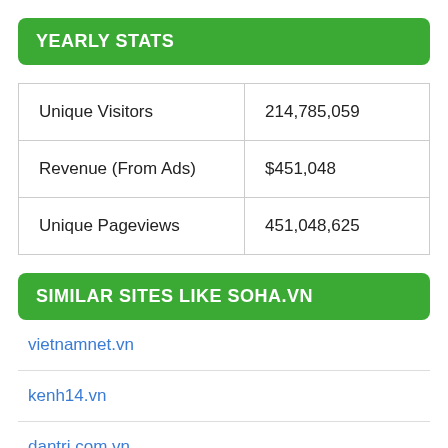YEARLY STATS
| Unique Visitors | 214,785,059 |
| Revenue (From Ads) | $451,048 |
| Unique Pageviews | 451,048,625 |
SIMILAR SITES LIKE SOHA.VN
vietnamnet.vn
kenh14.vn
dantri.com.vn